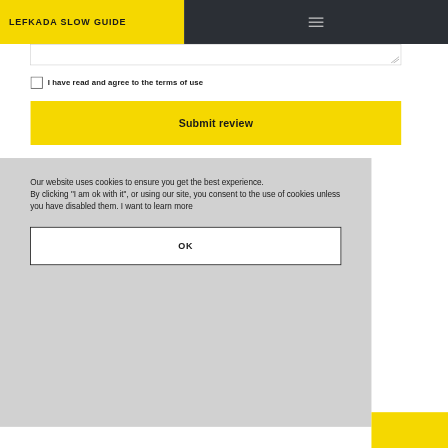LEFKADA SLOW GUIDE
I have read and agree to the terms of use
Submit review
Our website uses cookies to ensure you get the best experience.
By clicking "I am ok with it", or using our site, you consent to the use of cookies unless you have disabled them. I want to learn more
OK